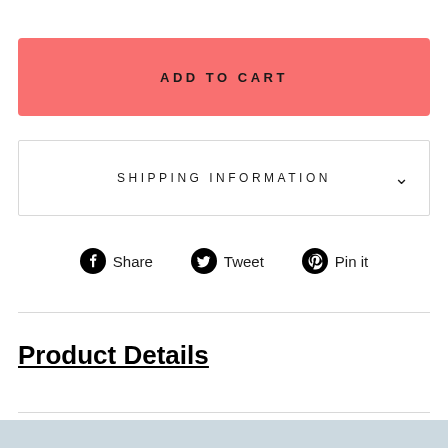ADD TO CART
SHIPPING INFORMATION
[Figure (other): Social sharing icons row: Facebook Share, Twitter Tweet, Pinterest Pin it]
Product Details